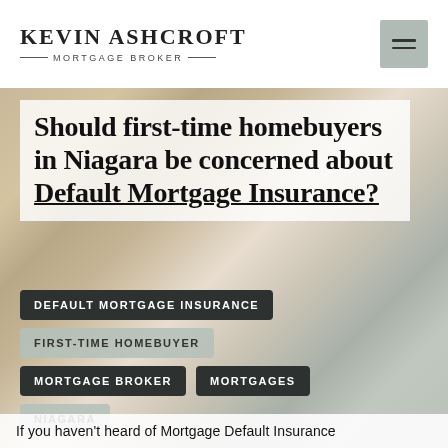KEVIN ASHCROFT MORTGAGE BROKER
Should first-time homebuyers in Niagara be concerned about Default Mortgage Insurance?
DEFAULT MORTGAGE INSURANCE
FIRST-TIME HOMEBUYER
MORTGAGE BROKER
MORTGAGES
NIAGARA
If you haven't heard of Mortgage Default Insurance